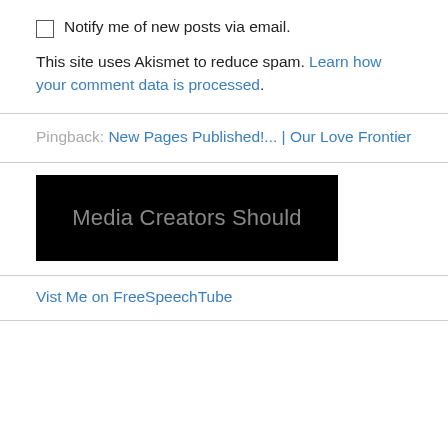Notify me of new posts via email.
This site uses Akismet to reduce spam. Learn how your comment data is processed.
Pingback: New Pages Published!... | Our Love Frontier
[Figure (screenshot): Black banner image with gray text reading 'Media Creators Should']
Vist Me on FreeSpeechTube